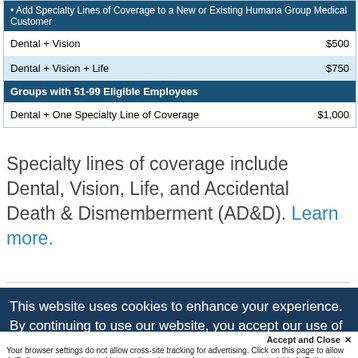| Coverage | Amount |
| --- | --- |
| • Add Specialty Lines of Coverage to a New or Existing Humana Group Medical Customer |  |
| Dental + Vision | $500 |
| Dental + Vision + Life | $750 |
| Groups with 51-99 Eligible Employees |  |
| Dental + One Specialty Line of Coverage | $1,000 |
Specialty lines of coverage include Dental, Vision, Life, and Accidental Death & Dismemberment (AD&D). Learn more.
This website uses cookies to enhance your experience. By continuing to use our website, you accept our use of cookies and agree to our terms.
Accept and Close ✕
Your browser settings do not allow cross-site tracking for advertising. Click on this page to allow AdRoll to use cross-site tracking to tailor ads to you. Learn more or opt out of this AdRoll tracking by clicking here. This message only appears once.